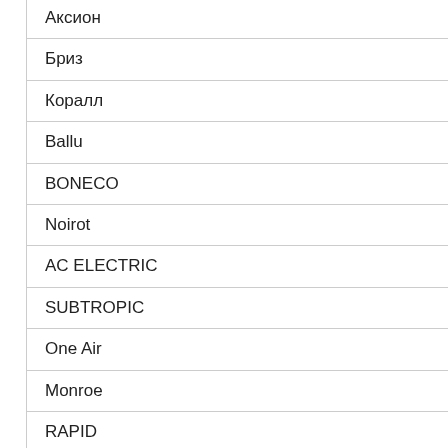Аксион
Бриз
Коралл
Ballu
BONECO
Noirot
AC ELECTRIC
SUBTROPIC
One Air
Monroe
RAPID